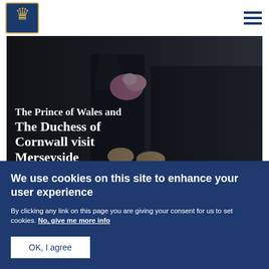[Figure (photo): Photo of The Prince of Wales and The Duchess of Cornwall visiting Merseyside — hands exchanging flowers visible in background]
The Prince of Wales and The Duchess of Cornwall visit Merseyside
Published 12 February 2019
We use cookies on this site to enhance your user experience
By clicking any link on this page you are giving your consent for us to set cookies. No, give me more info
OK, I agree